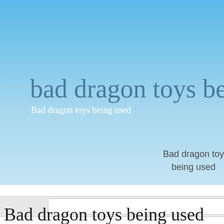[Figure (screenshot): Blue gradient banner background for a webpage]
bad dragon toys being u
Bad dragon toys being used
Bad dragon toys being used
Bad dragon toys being used